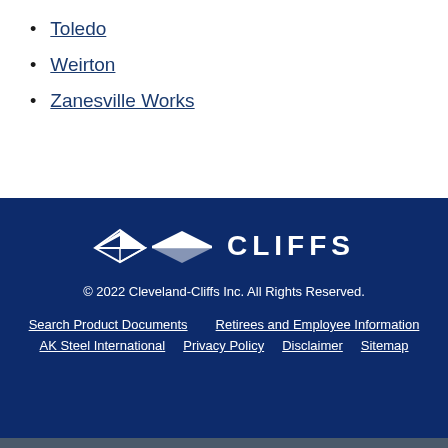Toledo
Weirton
Zanesville Works
[Figure (logo): Cleveland-Cliffs CLIFFS logo with diamond/arrow shape in white on dark blue background]
© 2022 Cleveland-Cliffs Inc. All Rights Reserved.
Search Product Documents   Retirees and Employee Information   AK Steel International   Privacy Policy   Disclaimer   Sitemap